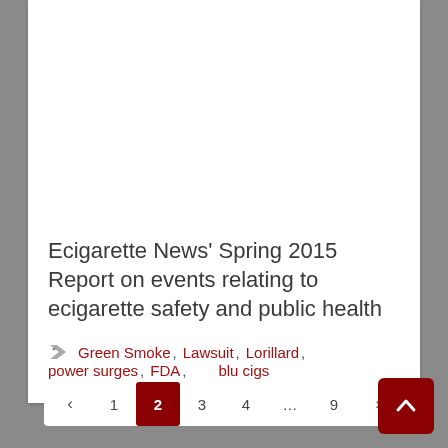Ecigarette News' Spring 2015 Report on events relating to ecigarette safety and public health
Tags: Green Smoke, Lawsuit, Lorillard, power surges, FDA, blu cigs
< 1 2 3 4 ... 9 >